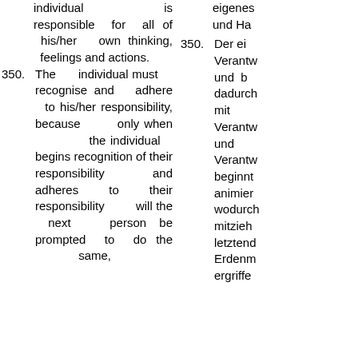individual is responsible for all of his/her own thinking, feelings and actions.
350. The individual must recognise and adhere to his/her responsibility, because only when the individual begins recognition of their responsibility and adheres to their responsibility will the next person be prompted to do the same,
eigenes und Ha
350. Der ei Verantw und b dadurch mit Verantw und Verantw beginnt animier wodurch mitzieh letztend Erdenm ergriffe